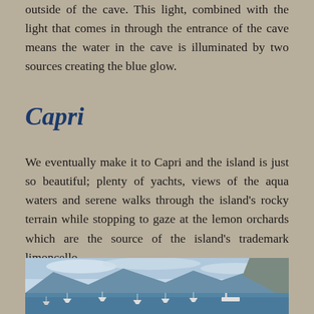outside of the cave. This light, combined with the light that comes in through the entrance of the cave means the water in the cave is illuminated by two sources creating the blue glow.
Capri
We eventually make it to Capri and the island is just so beautiful; plenty of yachts, views of the aqua waters and serene walks through the island's rocky terrain while stopping to gaze at the lemon orchards which are the source of the island's trademark limoncello.
[Figure (photo): A scenic harbour view of Capri with sailboats and yachts moored in calm blue water, mountains and rocky cliffs in the background under an overcast sky.]